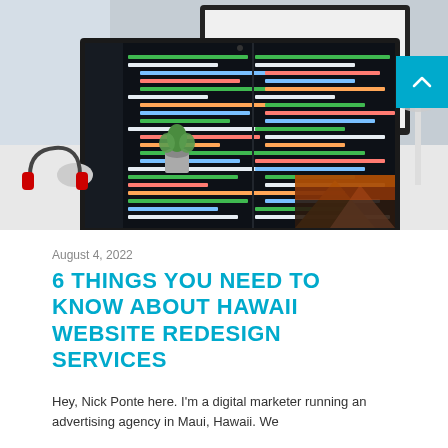[Figure (photo): A MacBook laptop with code editor showing colorful syntax highlighting on a dark background, sitting on a white desk with a keyboard, mouse, headphones, and a small plant. A second monitor is visible in the background. Office/developer workspace setting.]
August 4, 2022
6 THINGS YOU NEED TO KNOW ABOUT HAWAII WEBSITE REDESIGN SERVICES
Hey, Nick Ponte here. I'm a digital marketer running an advertising agency in Maui, Hawaii. We